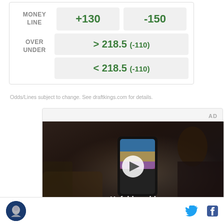|  | Team 1 | Team 2 |
| --- | --- | --- |
| MONEY LINE | +130 | -150 |
| OVER UNDER | > 218.5 (-110) | < 218.5 (-110) |
Odds/Lines subject to change. See draftkings.com for details.
AD
[Figure (screenshot): Video advertisement showing a person holding a foldable smartphone in a car interior with text 'Unfold your world' and a play button overlay.]